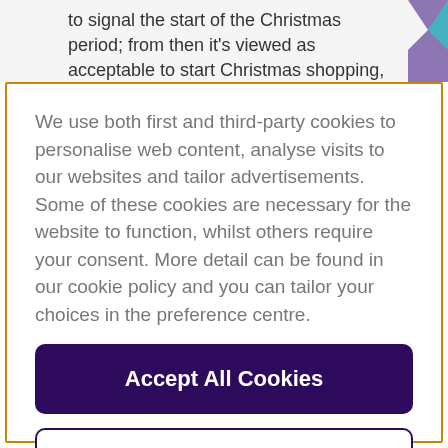to signal the start of the Christmas period; from then it's viewed as acceptable to start Christmas shopping,
We use both first and third-party cookies to personalise web content, analyse visits to our websites and tailor advertisements. Some of these cookies are necessary for the website to function, whilst others require your consent. More detail can be found in our cookie policy and you can tailor your choices in the preference centre.
Accept All Cookies
Cookies Settings